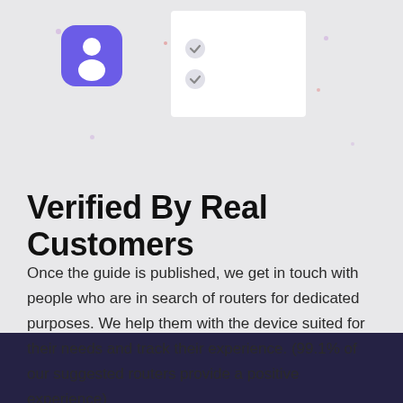[Figure (illustration): Illustration showing a purple person/profile icon on the left and a white checklist card with two checkmarks on the right, on a light grey background with small decorative dots]
Verified By Real Customers
Once the guide is published, we get in touch with people who are in search of routers for dedicated purposes. We help them with the device suited for their needs and track their experience. (99.1% of our suggested routers provide a positive experience)